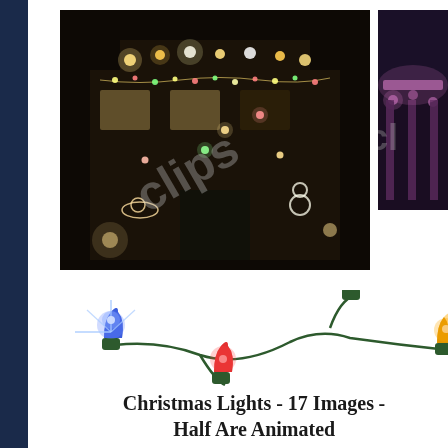[Figure (photo): House decorated extensively with Christmas lights including light-up figures of Santa, snowmen, and various holiday decorations covering the facade, photographed at night. Stock photo watermark visible.]
[Figure (photo): Partially visible second photo on the right edge showing a building illuminated with pink/purple lights at night.]
[Figure (illustration): Illustration of a string of Christmas lights with colorful bulbs: blue (with star sparkle effect), red, green, and yellow/gold bulbs on a green wire cord.]
Christmas Lights - 17 Images - Half Are Animated